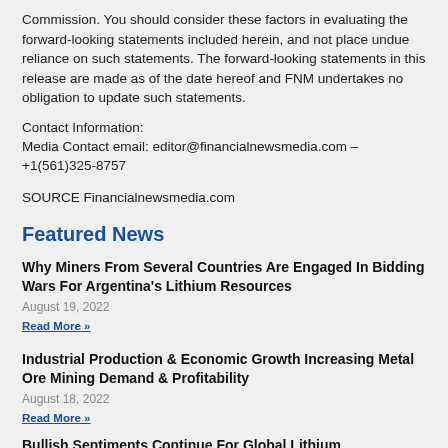Commission. You should consider these factors in evaluating the forward-looking statements included herein, and not place undue reliance on such statements. The forward-looking statements in this release are made as of the date hereof and FNM undertakes no obligation to update such statements.
Contact Information:
Media Contact email: editor@financialnewsmedia.com – +1(561)325-8757
SOURCE Financialnewsmedia.com
Featured News
Why Miners From Several Countries Are Engaged In Bidding Wars For Argentina's Lithium Resources
August 19, 2022
Read More »
Industrial Production & Economic Growth Increasing Metal Ore Mining Demand & Profitability
August 18, 2022
Read More »
Bullish Sentiments Continue For Global Lithium…